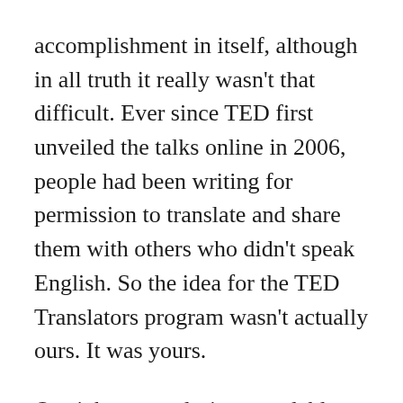accomplishment in itself, although in all truth it really wasn't that difficult. Ever since TED first unveiled the talks online in 2006, people had been writing for permission to translate and share them with others who didn't speak English. So the idea for the TED Translators program wasn't actually ours. It was yours.
Our job was to design a scalable system that would allow anyone—anywhere—to translate any talk into any language while still achieving the best quality possible. We had a hunch that if we were able to do that, it would foster a community of translators around the world, passionate about language, accuracy and